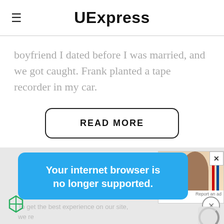UExpress
boyfriend I dated before I was married, and we got caught. Frank planted a tape recorder in my car.
READ MORE
Your internet browser is no longer supported.
To get the best experience on our site, we re latest
Report an ad